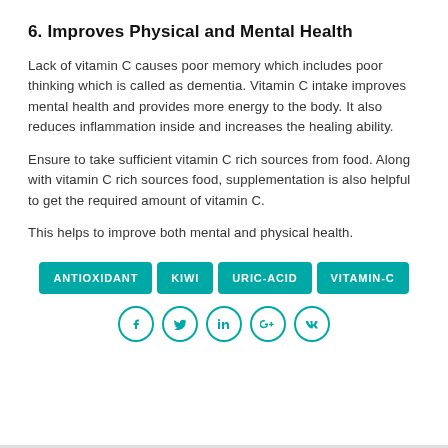6. Improves Physical and Mental Health
Lack of vitamin C causes poor memory which includes poor thinking which is called as dementia. Vitamin C intake improves mental health and provides more energy to the body. It also reduces inflammation inside and increases the healing ability.
Ensure to take sufficient vitamin C rich sources from food. Along with vitamin C rich sources food, supplementation is also helpful to get the required amount of vitamin C.
This helps to improve both mental and physical health.
[Figure (other): Four teal tag buttons labeled ANTIOXIDANT, KIWI, URIC-ACID, VITAMIN-C]
[Figure (other): Five social media icon circles (Facebook, Twitter, LinkedIn, Google+, VK) in teal outline style]